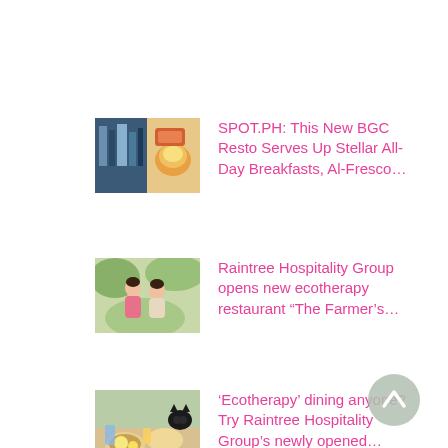[Figure (photo): Article thumbnail for BGC breakfast resto article - two food/drink photos side by side]
SPOT.PH: This New BGC Resto Serves Up Stellar All-Day Breakfasts, Al-Fresco…
[Figure (photo): Article thumbnail showing two women sitting outdoors]
Raintree Hospitality Group opens new ecotherapy restaurant “The Farmer’s…
[Figure (photo): Article thumbnail showing food on a table with a cat]
‘Ecotherapy’ dining anyone? Try Raintree Hospitality Group’s newly opened…
[Figure (other): Scroll-to-top chevron button, circular grey background]